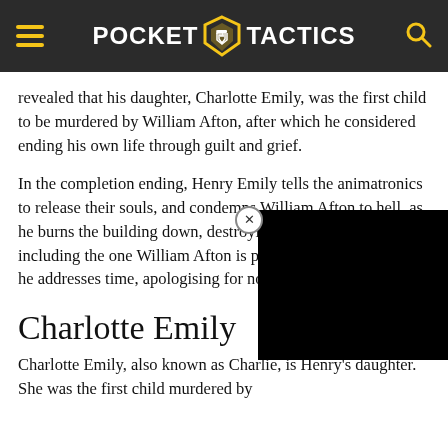POCKET TACTICS
revealed that his daughter, Charlotte Emily, was the first child to be murdered by William Afton, after which he considered ending his own life through guilt and grief.
In the completion ending, Henry Emily tells the animatronics to release their souls, and condemns William Afton to hell, as he burns the building down, destroying the animatronics including the one William Afton is possessing. Before he dies, he addresses time, apologising for not saving to rest.
Charlotte Emily
Charlotte Emily, also known as Charlie, is Henry's daughter. She was the first child murdered by